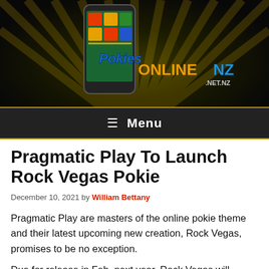[Figure (logo): PokiesOnlineNZ.net.nz logo on dark background with rays, with a smartphone showing slot game imagery]
≡ Menu
Pragmatic Play To Launch Rock Vegas Pokie
December 10, 2021 by William Bettany
Pragmatic Play are masters of the online pokie theme and their latest upcoming new creation, Rock Vegas, promises to be no exception.
Due for release in Feb. next year, Rock Vegas will combine the lives and times of cave people together with modern-day rock and roll for...